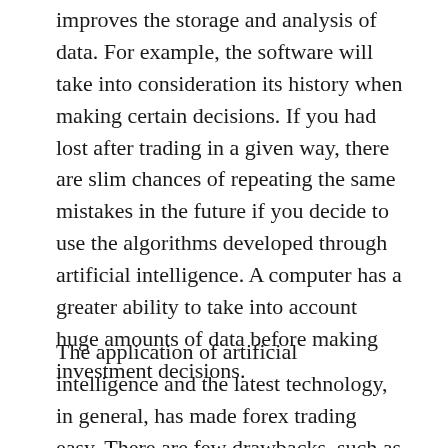improves the storage and analysis of data. For example, the software will take into consideration its history when making certain decisions. If you had lost after trading in a given way, there are slim chances of repeating the same mistakes in the future if you decide to use the algorithms developed through artificial intelligence. A computer has a greater ability to take into account huge amounts of data before making investment decisions.
The application of artificial intelligence and the latest technology, in general, has made forex trading easy. There are few drawbacks, such as